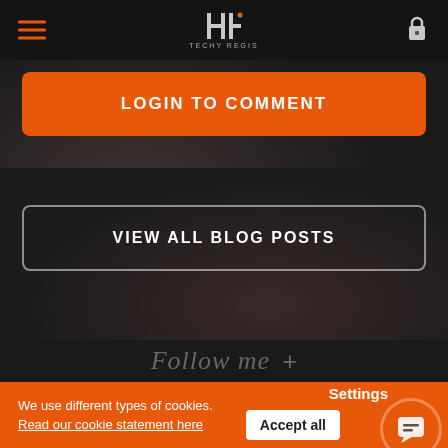[Figure (screenshot): Website navigation bar with hamburger menu icon in orange, centered logo (Techy Regis), and lock icon on right]
LOGIN TO COMMENT
VIEW ALL BLOG POSTS
Follow me +
Settings
We use different types of cookies.
Read our cookie statement here
Accept all